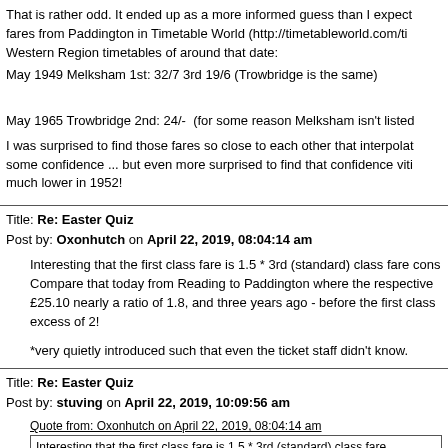That is rather odd. It ended up as a more informed guess than I expected fares from Paddington in Timetable World (http://timetableworld.com/ti... Western Region timetables of around that date:
May 1949 Melksham 1st: 32/7 3rd 19/6 (Trowbridge is the same)
May 1965 Trowbridge 2nd: 24/-  (for some reason Melksham isn't listed...
I was surprised to find those fares so close to each other that interpolat... some confidence ... but even more surprised to find that confidence viti... much lower in 1952!
Title: Re: Easter Quiz
Post by: Oxonhutch on April 22, 2019, 08:04:14 am
Interesting that the first class fare is 1.5 * 3rd (standard) class fare cons... Compare that today from Reading to Paddington where the respective £25.10 nearly a ratio of 1.8, and three years ago - before the first class excess of 2!
*very quietly introduced such that even the ticket staff didn't know.
Title: Re: Easter Quiz
Post by: stuving on April 22, 2019, 10:09:56 am
Quote from: Oxonhutch on April 22, 2019, 08:04:14 am
Interesting that the first class fare is 1.5 * 3rd (standard) class fare consistently across the t... Reading to Paddington where the respective fares are £44.90 and £25.10 nearly a ratio of 1... the first class price freeze* - it was in excess of 2!